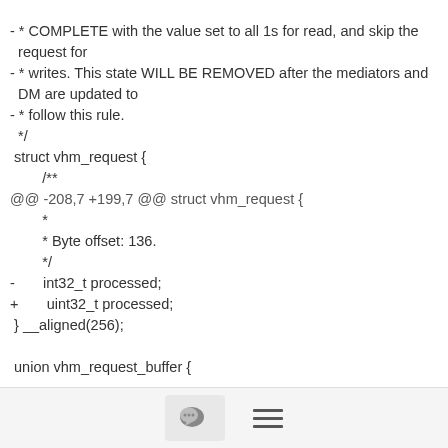- * COMPLETE with the value set to all 1s for read, and skip the request for
- * writes. This state WILL BE REMOVED after the mediators and DM are updated to
- * follow this rule.
  */
 struct vhm_request {
        /**
@@ -208,7 +199,7 @@ struct vhm_request {
        *
        * Byte offset: 136.
        */
-       int32_t processed;
+       uint32_t processed;
 } __aligned(256);

 union vhm_request_buffer {
--
2.7.4